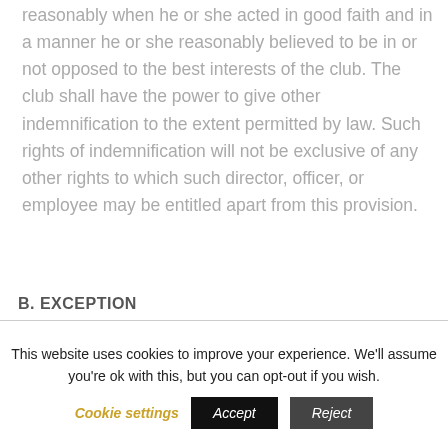reasonably when he or she acted in good faith and in a manner he or she reasonably believed to be in or not opposed to the best interests of the club. The club shall have the power to give other indemnification to the extent permitted by law. Such rights of indemnification will not be exclusive of any other rights to which such director, officer, or employee may be entitled apart from this provision.
B. EXCEPTION
This website uses cookies to improve your experience. We'll assume you're ok with this, but you can opt-out if you wish.